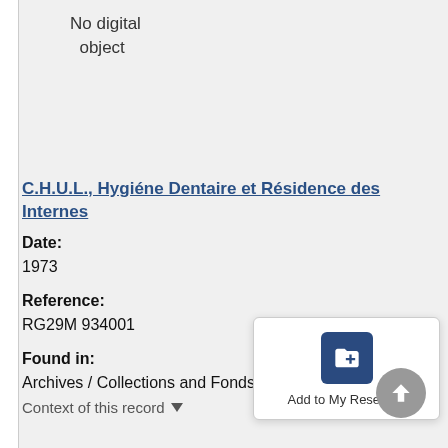No digital object
C.H.U.L., Hygiéne Dentaire et Résidence des Internes
Date:
1973
Reference:
RG29M 934001
Found in:
Archives / Collections and Fonds
Context of this record ▾